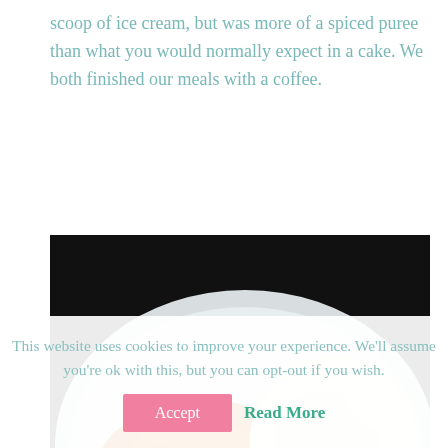scoop of ice cream, but was more of a spiced puree than what you would normally expect in a cake. We both finished our meals with a coffee.
[Figure (photo): A white oval plate on a dark background, holding an orange spiced puree or cake on the left and a round scoop of pale vanilla ice cream on the right, with decorative saffron strands on the puree.]
This website uses cookies to improve your experience. We'll assume you're ok with this, but you can opt-out if you wish.